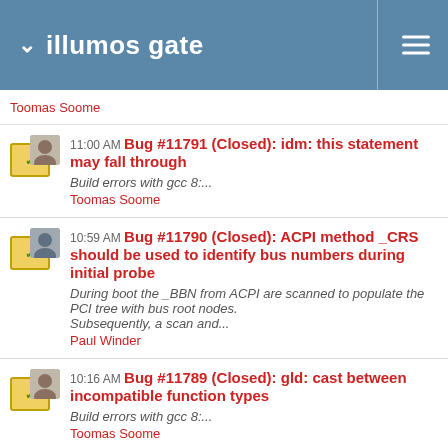illumos gate
Toomas Soome
11:00 AM Bug #11791 (Closed): idm: this statement may fall through
Build errors with gcc 8:...
Toomas Soome
10:59 AM Bug #11790 (Closed): ACPI method _CRS should be used to identify bus numbers during initial probe
During boot the _BBN from ACPI are scanned to populate the PCI tree with bus root nodes. Subsequently, a scan and...
Paul Winder
10:16 AM Bug #11789 (Closed): gld: cast between incompatible function types
Build errors with gcc 8:...
Toomas Soome